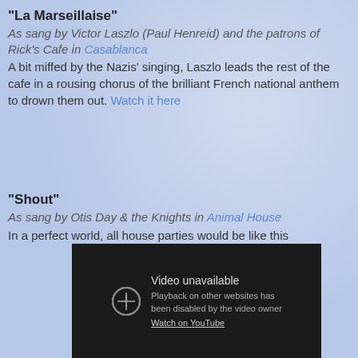"La Marseillaise"
As sang by Victor Laszlo (Paul Henreid) and the patrons of Rick's Cafe in Casablanca
A bit miffed by the Nazis' singing, Laszlo leads the rest of the cafe in a rousing chorus of the brilliant French national anthem to drown them out. Watch it here
"Shout"
As sang by Otis Day & the Knights in Animal House
In a perfect world, all house parties would be like this
[Figure (screenshot): Embedded video player showing 'Video unavailable' message. Text reads: 'Playback on other websites has been disabled by the video owner. Watch on YouTube']